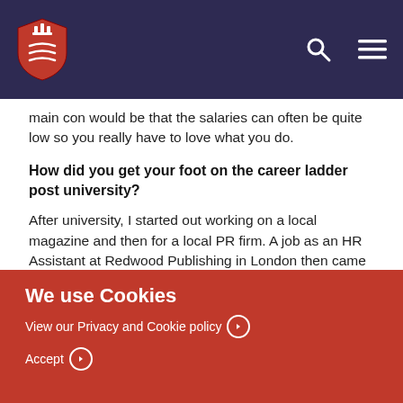[University navigation bar with logo, search, and menu icons]
main con would be that the salaries can often be quite low so you really have to love what you do.
How did you get your foot on the career ladder post university?
After university, I started out working on a local magazine and then for a local PR firm. A job as an HR Assistant at Redwood Publishing in London then came up so I went for it. The role didn't marry up with what I wanted to do but it put me on the career ladder in London and also made me realise what I wanted to do. It really helped me to
We use Cookies
View our Privacy and Cookie policy
Accept